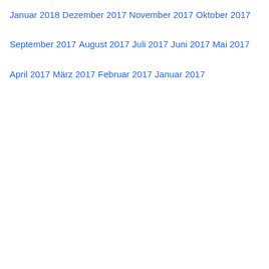Januar 2018
Dezember 2017
November 2017
Oktober 2017
September 2017
August 2017
Juli 2017
Juni 2017
Mai 2017
April 2017
März 2017
Februar 2017
Januar 2017